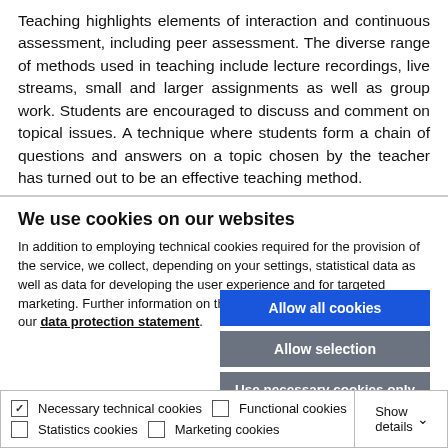Teaching highlights elements of interaction and continuous assessment, including peer assessment. The diverse range of methods used in teaching include lecture recordings, live streams, small and larger assignments as well as group work. Students are encouraged to discuss and comment on topical issues. A technique where students form a chain of questions and answers on a topic chosen by the teacher has turned out to be an effective teaching method.
We use cookies on our websites
In addition to employing technical cookies required for the provision of the service, we collect, depending on your settings, statistical data as well as data for developing the user experience and for targeted marketing. Further information on the use of your data is available in our data protection statement.
Allow all cookies
Allow selection
Use necessary cookies only
Necessary technical cookies  Functional cookies  Statistics cookies  Marketing cookies  Show details